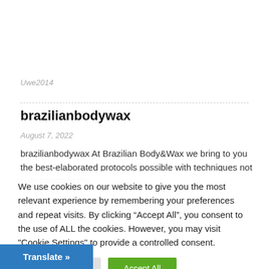Uwe2014
brazilianbodywax
August 7, 2022
brazilianbodywax  At Brazilian Body&Wax we bring to you the best-elaborated protocols possible with techniques not only known in the
We use cookies on our website to give you the most relevant experience by remembering your preferences and repeat visits. By clicking “Accept All”, you consent to the use of ALL the cookies. However, you may visit "Cookie Settings" to provide a controlled consent.
Cookie Settings
Accept All
Translate »